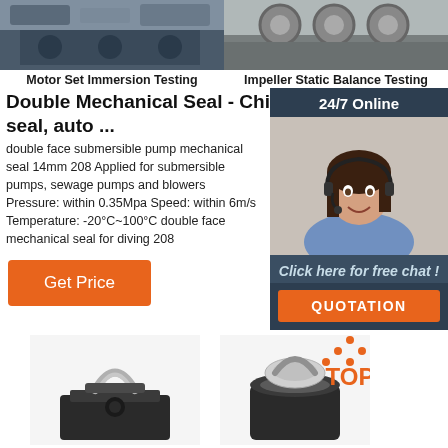[Figure (photo): Two industrial testing photos side by side: Motor Set Immersion Testing (left) and Impeller Static Balance Testing (right)]
Motor Set Immersion Testing
Impeller Static Balance Testing
Double Mechanical Seal - China water pump seal, auto ...
double face submersible pump mechanical seal 14mm 208 Applied for submersible pumps, sewage pumps and blowers Pressure: within 0.35Mpa Speed: within 6m/s Temperature: -20°C~100°C double face mechanical seal for diving 208
[Figure (photo): 24/7 Online chat widget with female agent wearing headset, with 'Click here for free chat!' text and QUOTATION button]
Get Price
[Figure (photo): Two submersible pump product images at the bottom of the page, with TOP logo icon on the right side]